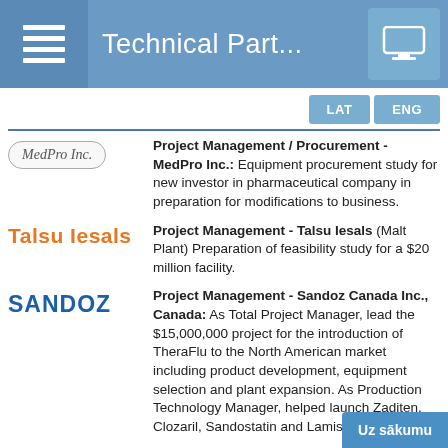Technical Part...
LAT  ENG
[Figure (logo): MedPro Inc. oval logo]
Project Management / Procurement - MedPro Inc.: Equipment procurement study for new investor in pharmaceutical company in preparation for modifications to business.
[Figure (logo): Talsu Iesals orange bold text logo]
Project Management - Talsu Iesals (Malt Plant) Preparation of feasibility study for a $20 million facility.
[Figure (logo): SANDOZ blue bold text logo]
Project Management - Sandoz Canada Inc., Canada: As Total Project Manager, lead the $15,000,000 project for the introduction of TheraFlu to the North American market including product development, equipment selection and plant expansion. As Production Technology Manager, helped launch Zaditen, Clozaril, Sandostatin and Lamisil to the Cana...